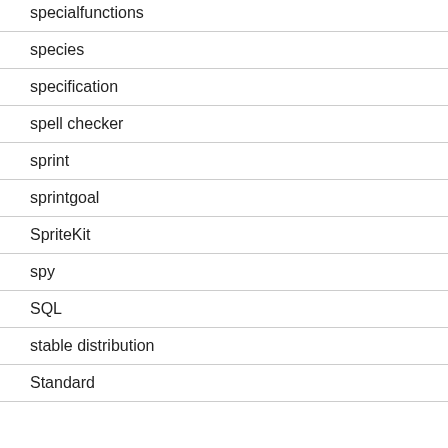specialfunctions
species
specification
spell checker
sprint
sprintgoal
SpriteKit
spy
SQL
stable distribution
Standard